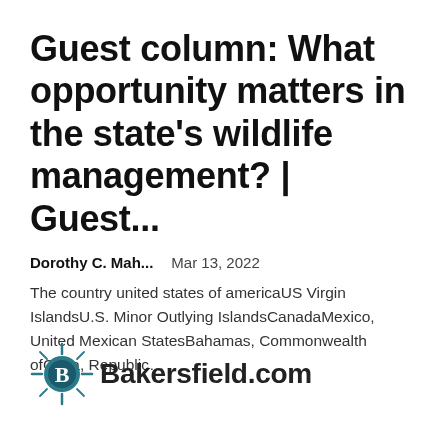Guest column: What opportunity matters in the state's wildlife management? | Guest...
Dorothy C. Mah...   Mar 13, 2022
The country united states of americaUS Virgin IslandsU.S. Minor Outlying IslandsCanadaMexico, United Mexican StatesBahamas, Commonwealth ofCuba, Republic...
[Figure (logo): Bakersfield.com logo with compass/letter B icon and text 'Bakersfield.com']